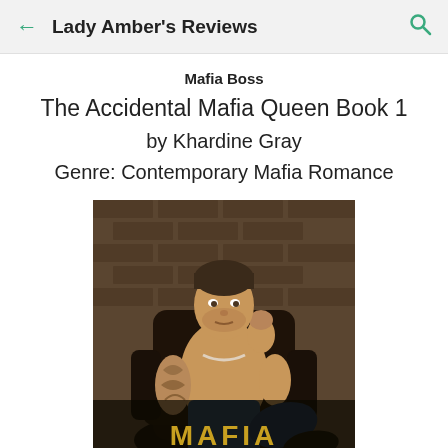Lady Amber's Reviews
Mafia Boss
The Accidental Mafia Queen Book 1
by Khardine Gray
Genre: Contemporary Mafia Romance
[Figure (photo): Book cover showing a tattooed shirtless man sitting in a dark leather chair in front of a brick wall background, with the title 'Mafia Boss' partially visible at the bottom.]